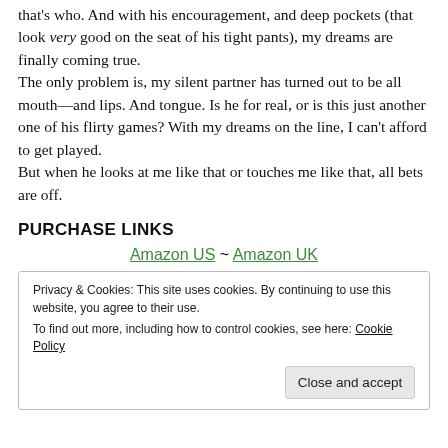that's who. And with his encouragement, and deep pockets (that look very good on the seat of his tight pants), my dreams are finally coming true.
The only problem is, my silent partner has turned out to be all mouth—and lips. And tongue. Is he for real, or is this just another one of his flirty games? With my dreams on the line, I can't afford to get played.
But when he looks at me like that or touches me like that, all bets are off.
PURCHASE LINKS
Amazon US ~ Amazon UK
Privacy & Cookies: This site uses cookies. By continuing to use this website, you agree to their use.
To find out more, including how to control cookies, see here: Cookie Policy
Close and accept